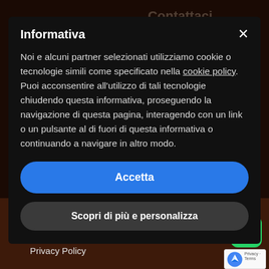[Figure (screenshot): Cookie consent modal dialog overlaid on a dark brick-wall website background. The modal has a dark background with title 'Informativa', body text in Italian about cookies, a blue 'Accetta' button, and a dark grey 'Scopri di più e personalizza' button. Behind the modal, faded website text shows 'Mobile Phone', 'Contattaci', a phone number, an email. The footer area below shows navigation links 'Normativa Generale', 'Privacy Policy', 'CONDIZIONI', 'STAY IN TOUCH', social icons, a WhatsApp icon, and a reCAPTCHA badge.]